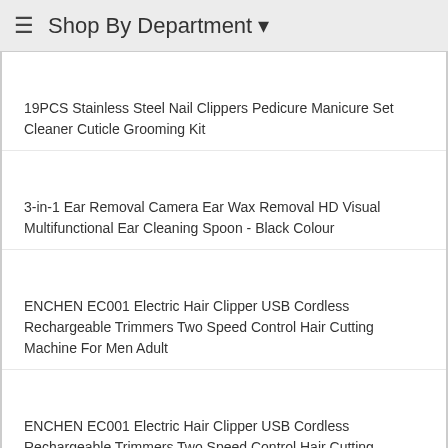Shop By Department
19PCS Stainless Steel Nail Clippers Pedicure Manicure Set Cleaner Cuticle Grooming Kit
3-in-1 Ear Removal Camera Ear Wax Removal HD Visual Multifunctional Ear Cleaning Spoon - Black Colour
ENCHEN EC001 Electric Hair Clipper USB Cordless Rechargeable Trimmers Two Speed Control Hair Cutting Machine For Men Adult
ENCHEN EC001 Electric Hair Clipper USB Cordless Rechargeable Trimmers Two Speed Control Hair Cutting Machine For Men Adult